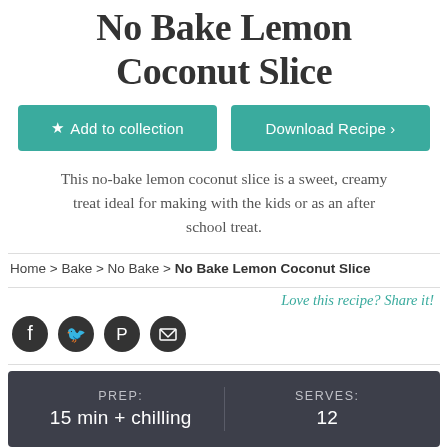No Bake Lemon Coconut Slice
[Figure (other): Two teal buttons: 'Add to collection' and 'Download Recipe >']
This no-bake lemon coconut slice is a sweet, creamy treat ideal for making with the kids or as an after school treat.
Home > Bake > No Bake > No Bake Lemon Coconut Slice
Love this recipe? Share it!
[Figure (other): Social share icons: Facebook, Twitter, Pinterest, Email]
| PREP: | SERVES: |
| --- | --- |
| 15 min + chilling | 12 |